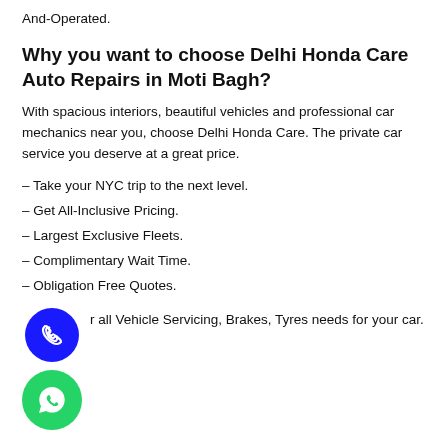And-Operated.
Why you want to choose Delhi Honda Care Auto Repairs in Moti Bagh?
With spacious interiors, beautiful vehicles and professional car mechanics near you, choose Delhi Honda Care. The private car service you deserve at a great price.
– Take your NYC trip to the next level.
– Get All-Inclusive Pricing.
– Largest Exclusive Fleets.
– Complimentary Wait Time.
– Obligation Free Quotes.
[Figure (illustration): Blue phone icon circle and green WhatsApp icon circle]
r all Vehicle Servicing, Brakes, Tyres needs for your car.